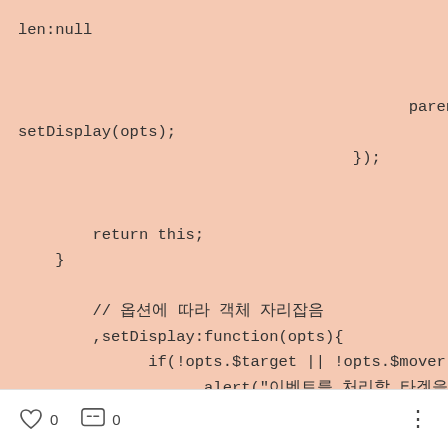len:null


                                                    parents.
setDisplay(opts);
                                        });


            return this;
    }

        // 옵션에 따라 객체 자리잡음
        ,setDisplay:function(opts){
              if(!opts.$target || !opts.$mover){
                    alert("이벤트를 처리할 타겟을 지정해 주세
0  0  ⋮